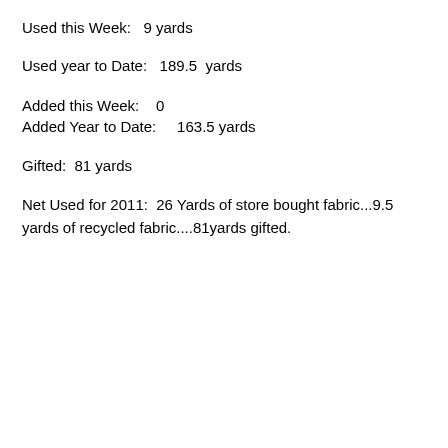Used this Week:   9 yards
Used year to Date:   189.5  yards
Added this Week:    0
Added Year to Date:     163.5 yards
Gifted:  81 yards
Net Used for 2011:  26 Yards of store bought fabric...9.5 yards of recycled fabric....81yards gifted.